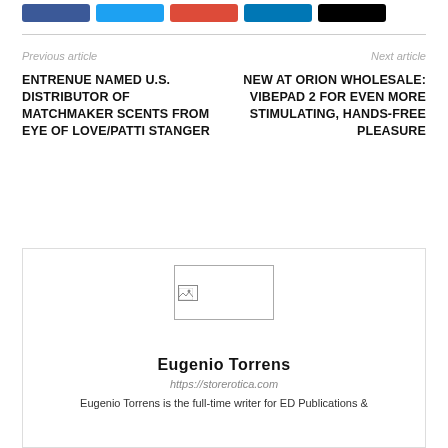[Figure (other): Row of five social sharing buttons: Facebook (blue), Twitter (light blue), Google+ (red/orange), LinkedIn (dark blue), and one black button]
Previous article
Next article
ENTRENUE NAMED U.S. DISTRIBUTOR OF MATCHMAKER SCENTS FROM EYE OF LOVE/PATTI STANGER
NEW AT ORION WHOLESALE: VIBEPAD 2 FOR EVEN MORE STIMULATING, HANDS-FREE PLEASURE
[Figure (photo): Author profile image placeholder with broken image icon]
Eugenio Torrens
https://storerotica.com
Eugenio Torrens is the full-time writer for ED Publications &